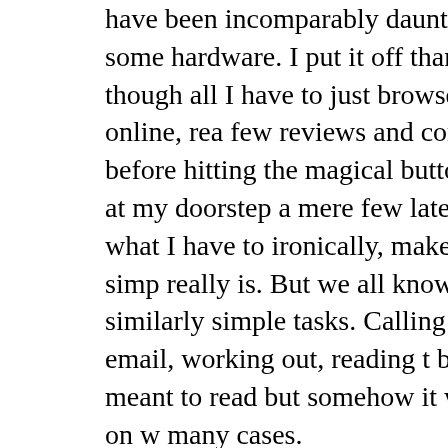have been incomparably daunting, such shopping for some hardware. I put it off than necessary, even though all I have to just browse a few candidates online, rea few reviews and compare prices and fea before hitting the magical button that wi render a box at my doorstep a mere few later. The fact that I listed what I have to ironically, makes the task sound as simp really is. But we all know how often we off similarly simple tasks. Calling a frie sending an email, working out, reading t book you've always meant to read but somehow it was uninviting, and so on w many cases.
Making a list achieves two things. First,